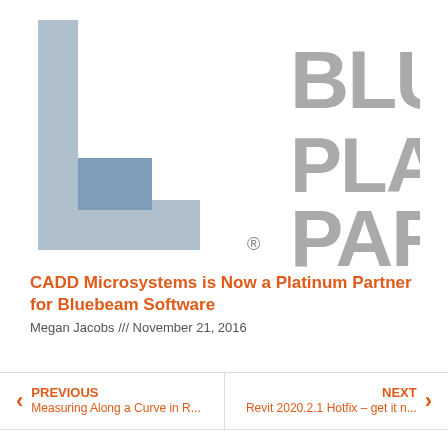[Figure (logo): CADD Microsystems / Bluebeam Platinum Partner logo. Left side shows a stylized bracket/C shape in blue-gray tones with a registered trademark symbol. Right side shows large gray text reading BLUEBE / PLATINU / PARTNE (cropped).]
CADD Microsystems is Now a Platinum Partner for Bluebeam Software
Megan Jacobs /// November 21, 2016
PREVIOUS
Measuring Along a Curve in R...
NEXT
Revit 2020.2.1 Hotfix – get it n...